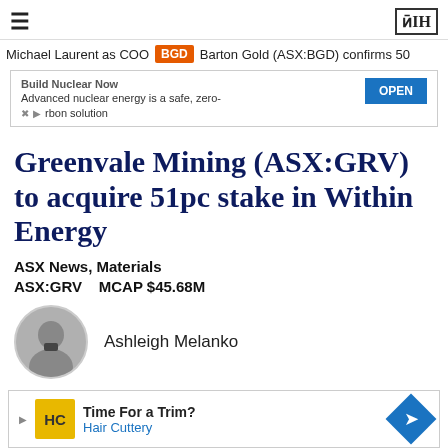≡  ЗIH
Michael Laurent as COO  BGD  Barton Gold (ASX:BGD) confirms 50
[Figure (screenshot): Advertisement banner: Build Nuclear Now - Advanced nuclear energy is a safe, zero-carbon solution. OPEN button.]
Greenvale Mining (ASX:GRV) to acquire 51pc stake in Within Energy
ASX News, Materials
ASX:GRV    MCAP $45.68M
Ashleigh Melanko
[Figure (screenshot): Advertisement banner: Time For a Trim? Hair Cuttery with logo and arrow icon.]